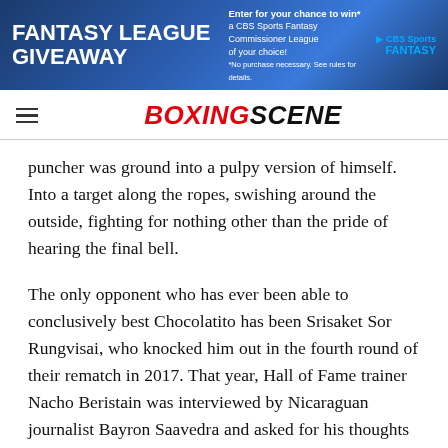[Figure (screenshot): CBS Sports Fantasy League Giveaway advertisement banner with hockey players in background. Text reads: 'FANTASY LEAGUE GIVEAWAY - Enter for your chance to win a CBS Sports Fantasy Commissioner League of your choice! *No purchase necessary. See rules for details.' with CBS Sports FANTASY logo.]
BOXINGSCENE
puncher was ground into a pulpy version of himself. Into a target along the ropes, swishing around the outside, fighting for nothing other than the pride of hearing the final bell.
The only opponent who has ever been able to conclusively best Chocolatito has been Srisaket Sor Rungvisai, who knocked him out in the fourth round of their rematch in 2017. That year, Hall of Fame trainer Nacho Beristain was interviewed by Nicaraguan journalist Bayron Saavedra and asked for his thoughts on Chocolatito's shocking demise.
“He looked like he had done very little physical work and